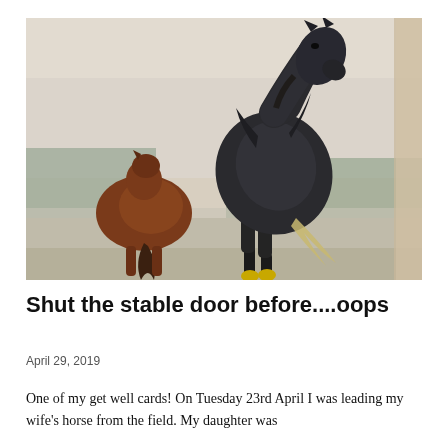[Figure (photo): A black horse rearing or leaping high in the air, with a brown/chestnut horse standing with its back to the camera in the foreground left. The background is a misty, foggy outdoor scene with trees. The photo appears to be a photograph of a printed image or greeting card.]
Shut the stable door before....oops
April 29, 2019
One of my get well cards! On Tuesday 23rd April I was leading my wife's horse from the field. My daughter was